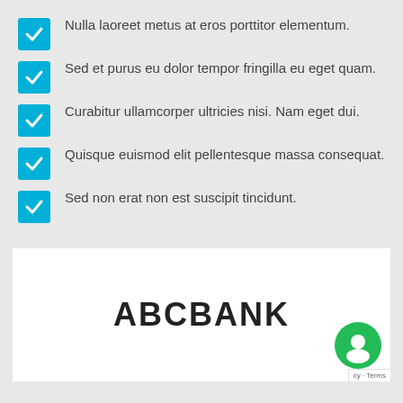Nulla laoreet metus at eros porttitor elementum.
Sed et purus eu dolor tempor fringilla eu eget quam.
Curabitur ullamcorper ultricies nisi. Nam eget dui.
Quisque euismod elit pellentesque massa consequat.
Sed non erat non est suscipit tincidunt.
[Figure (logo): ABCBANK logo text in bold uppercase, centered in a white box]